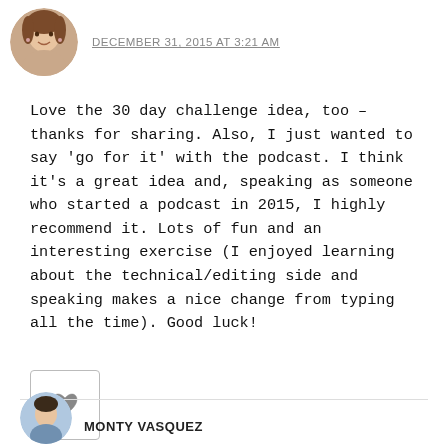[Figure (photo): Circular avatar photo of a woman with brown hair]
DECEMBER 31, 2015 AT 3:21 AM
Love the 30 day challenge idea, too – thanks for sharing. Also, I just wanted to say 'go for it' with the podcast. I think it's a great idea and, speaking as someone who started a podcast in 2015, I highly recommend it. Lots of fun and an interesting exercise (I enjoyed learning about the technical/editing side and speaking makes a nice change from typing all the time). Good luck!
[Figure (illustration): Like/heart button with a heart icon inside a bordered square box]
[Figure (photo): Circular avatar of next commenter (partial, cut off at bottom)]
MONTY VASQUEZ